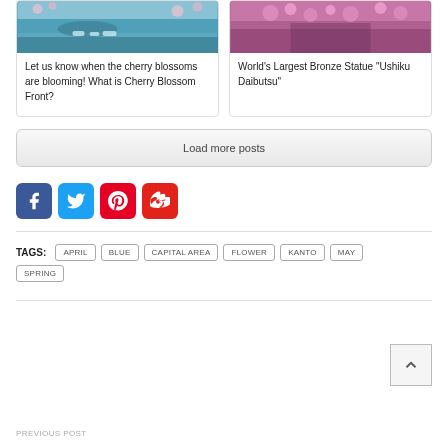[Figure (photo): Cherry blossoms with boats on water]
Let us know when the cherry blossoms are blooming! What is Cherry Blossom Front?
[Figure (photo): Pink flowers / garden scene]
World’s Largest Bronze Statue “Ushiku Daibutsu”
Load more posts
[Figure (infographic): Social media icons: Facebook, Twitter, Pinterest, Weibo]
TAGS: APRIL BLUE CAPITAL AREA FLOWER KANTO MAY SPRING
[Figure (infographic): Back to top button with upward chevron]
PREVIOUS POST